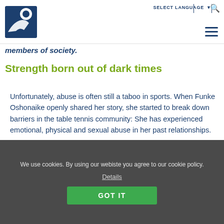SELECT LANGUAGE
[Figure (logo): Table tennis organization logo — dark blue square with white circle/ball and hand/paddle silhouette]
members of society.
Strength born out of dark times
Unfortunately, abuse is often still a taboo in sports. When Funke Oshonaike openly shared her story, she started to break down barriers in the table tennis community: She has experienced emotional, physical and sexual abuse in her past relationships.
We use cookies. By using our webiste you agree to our cookie policy.
Details
GOT IT